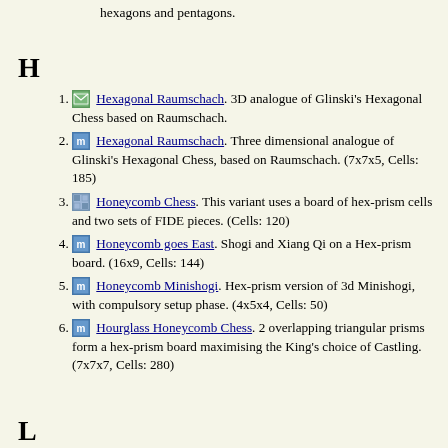hexagons and pentagons.
H
Hexagonal Raumschach. 3D analogue of Glinski's Hexagonal Chess based on Raumschach.
Hexagonal Raumschach. Three dimensional analogue of Glinski's Hexagonal Chess, based on Raumschach. (7x7x5, Cells: 185)
Honeycomb Chess. This variant uses a board of hex-prism cells and two sets of FIDE pieces. (Cells: 120)
Honeycomb goes East. Shogi and Xiang Qi on a Hex-prism board. (16x9, Cells: 144)
Honeycomb Minishogi. Hex-prism version of 3d Minishogi, with compulsory setup phase. (4x5x4, Cells: 50)
Hourglass Honeycomb Chess. 2 overlapping triangular prisms form a hex-prism board maximising the King's choice of Castling. (7x7x7, Cells: 280)
L